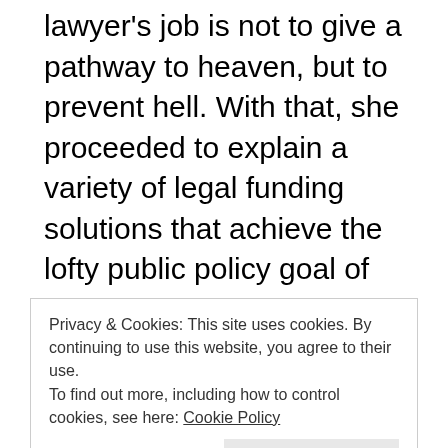lawyer's job is not to give a pathway to heaven, but to prevent hell. With that, she proceeded to explain a variety of legal funding solutions that achieve the lofty public policy goal of preventing injustice, the insurance products that can be incorporated into funding, and the investment aspect of art claims. Ms. Kadhim also touched on the vital impact the Holocaust Expropriated Art Recovery Act of 2016 had to lift the procedural bar on many art/cultural heritage claims that otherwise would have been abandoned
Privacy & Cookies: This site uses cookies. By continuing to use this website, you agree to their use.
To find out more, including how to control cookies, see here: Cookie Policy
daunting task. Many within earshot (including